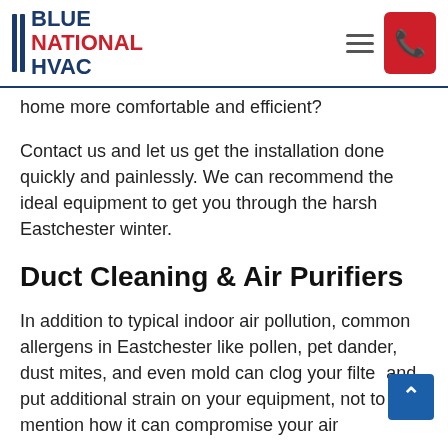Blue National HVAC
home more comfortable and efficient?
Contact us and let us get the installation done quickly and painlessly. We can recommend the ideal equipment to get you through the harsh Eastchester winter.
Duct Cleaning & Air Purifiers
In addition to typical indoor air pollution, common allergens in Eastchester like pollen, pet dander, dust mites, and even mold can clog your filter and put additional strain on your equipment, not to mention how it can compromise your air